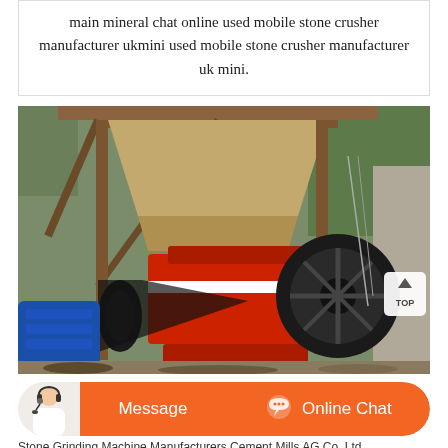main mineral chat online used mobile stone crusher manufacturer ukmini used mobile stone crusher manufacturer uk mini.
[Figure (photo): Outdoor industrial stone crusher machine setup with red and black heavy machinery, a blue electric motor on the left, metal structural supports, and a hopper frame above. A 'TOP' navigation button is visible in the upper right of the image area.]
Message   Online Chat
Stone Grinding Machine Manufacturers Cement Mills AG Co. Ltd ...